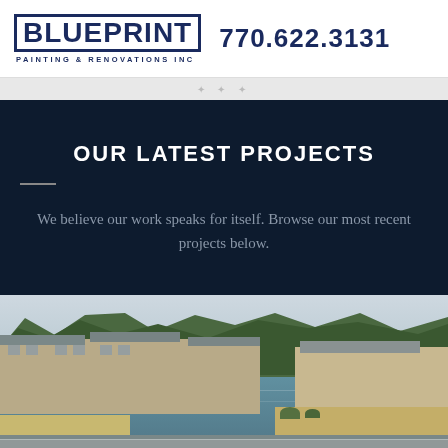BLUEPRINT PAINTING & RENOVATIONS INC  770.622.3131
OUR LATEST PROJECTS
We believe our work speaks for itself. Browse our most recent projects below.
[Figure (photo): Exterior photo of apartment complex with lake/pond in foreground, fountain, trees in background, residential buildings on left and right sides]